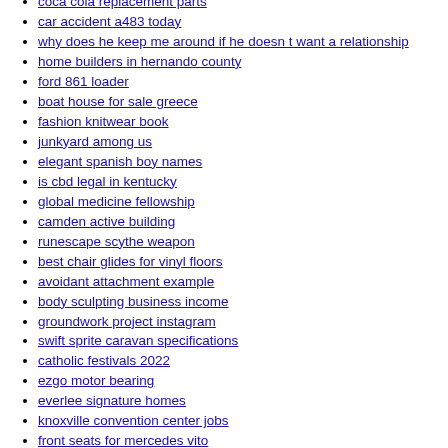coca cola replacement parts
car accident a483 today
why does he keep me around if he doesn t want a relationship
home builders in hernando county
ford 861 loader
boat house for sale greece
fashion knitwear book
junkyard among us
elegant spanish boy names
is cbd legal in kentucky
global medicine fellowship
camden active building
runescape scythe weapon
best chair glides for vinyl floors
avoidant attachment example
body sculpting business income
groundwork project instagram
swift sprite caravan specifications
catholic festivals 2022
ezgo motor bearing
everlee signature homes
knoxville convention center jobs
front seats for mercedes vito
pa unclaimed property